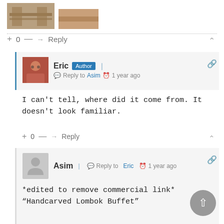[Figure (photo): Two thumbnail images at top: a wood/furniture photo and a smaller brownish photo thumbnail]
+ 0 — → Reply
Eric  Author  < Reply to Asim  1 year ago
I can't tell, where did it come from. It doesn't look familiar.
+ 0 — → Reply
Asim  < Reply to Eric  1 year ago
*edited to remove commercial link* "Handcarved Lombok Buffet"